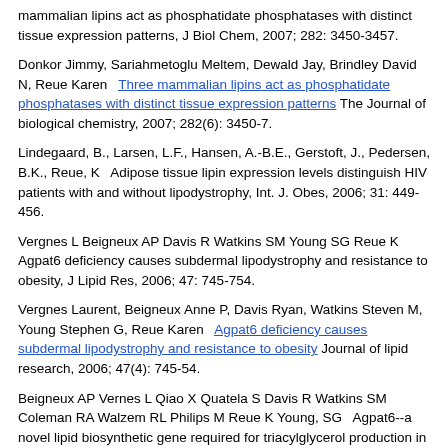mammalian lipins act as phosphatidate phosphatases with distinct tissue expression patterns, J Biol Chem, 2007; 282: 3450-3457.
Donkor Jimmy, Sariahmetoglu Meltem, Dewald Jay, Brindley David N, Reue Karen   Three mammalian lipins act as phosphatidate phosphatases with distinct tissue expression patterns The Journal of biological chemistry, 2007; 282(6): 3450-7.
Lindegaard, B., Larsen, L.F., Hansen, A.-B.E., Gerstoft, J., Pedersen, B.K., Reue, K   Adipose tissue lipin expression levels distinguish HIV patients with and without lipodystrophy, Int. J. Obes, 2006; 31: 449-456.
Vergnes L Beigneux AP Davis R Watkins SM Young SG Reue K   Agpat6 deficiency causes subdermal lipodystrophy and resistance to obesity, J Lipid Res, 2006; 47: 745-754.
Vergnes Laurent, Beigneux Anne P, Davis Ryan, Watkins Steven M, Young Stephen G, Reue Karen   Agpat6 deficiency causes subdermal lipodystrophy and resistance to obesity Journal of lipid research, 2006; 47(4): 745-54.
Beigneux AP Vernes L Qiao X Quatela S Davis R Watkins SM Coleman RA Walzem RL Philips M Reue K Young, SG   Agpat6--a novel lipid biosynthetic gene required for triacylglycerol production in mammary epithelium, J Lipid Res, 2006; 47: 734-744.